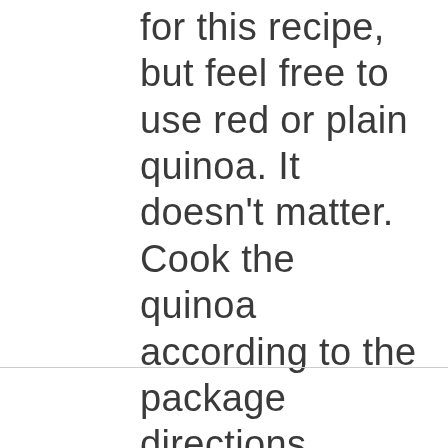for this recipe, but feel free to use red or plain quinoa. It doesn't matter. Cook the quinoa according to the package directions. You'll notice the white germ ring that releases from the grain.  That's normal. Just fluff the quinoa with a fork before blending with the other stuffing ingredients.